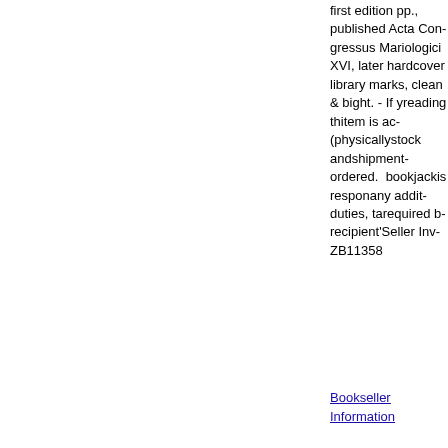first edition pp., published Acta Congressus Mariologici XVI, later hardcover library marks, clean & binding tight. - If you reading this item is actually (physically) in stock and ready shipment as ordered. The bookjacket buyer is responsible any additional duties, taxes required by the recipient's country. Seller Inventory ZB11358
Bookseller Information